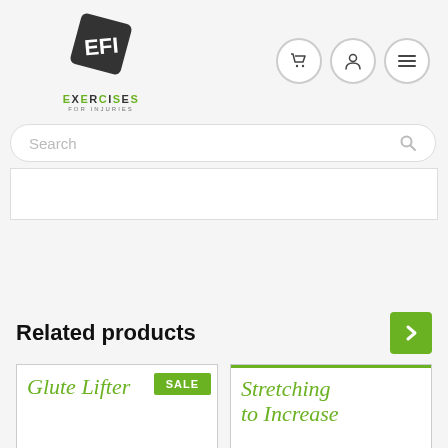[Figure (logo): Exercises For Injuries logo — dark angular diamond shape with EFI letters, green and dark text below reading EXERCISES FOR INJURIES]
[Figure (infographic): Navigation icons: shopping cart circle, person/user circle, hamburger menu circle]
Search
[Figure (screenshot): Partial white content box visible near top of page body]
Related products
[Figure (illustration): Green right-arrow navigation button]
[Figure (photo): Product card left: Glute Lifter script text in green italic, with green SALE badge]
[Figure (photo): Product card right: Stretching to Increase script text in green italic, with green top border line]